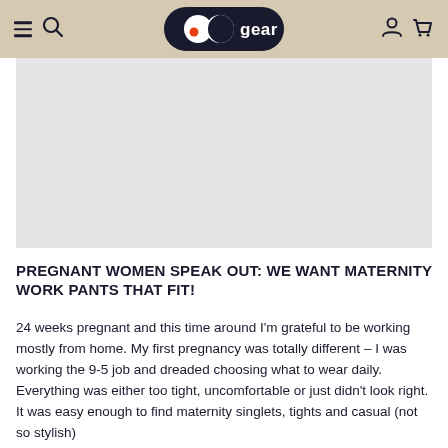CO gear navigation bar with hamburger menu, search, logo, account and cart icons
[Figure (photo): Large light grey placeholder image area, likely a product or lifestyle photo related to maternity workwear]
PREGNANT WOMEN SPEAK OUT: WE WANT MATERNITY WORK PANTS THAT FIT!
24 weeks pregnant and this time around I'm grateful to be working mostly from home. My first pregnancy was totally different – I was working the 9-5 job and dreaded choosing what to wear daily. Everything was either too tight, uncomfortable or just didn't look right. It was easy enough to find maternity singlets, tights and casual (not so stylish)